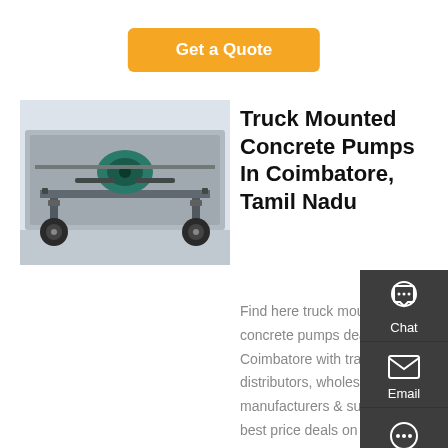Get a Quote
[Figure (photo): Underside view of a truck mounted concrete pump showing axles and chassis]
Truck Mounted Concrete Pumps In Coimbatore, Tamil Nadu
Find here truck mounted concrete pumps dealers in Coimbatore with traders, distributors, wholesalers, manufacturers & suppliers. Get best price deals on truck mounted concrete pumps in Coimbatore...
Chat
Email
Contact
Top